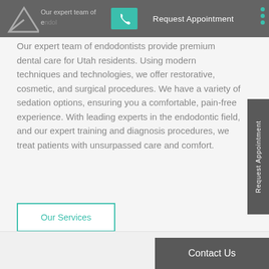Request Appointment
Our expert team of endodontists provide premium dental care for Utah residents. Using modern techniques and technologies, we offer restorative, cosmetic, and surgical procedures. We have a variety of sedation options, ensuring you a comfortable, pain-free experience. With leading experts in the endodontic field, and our expert training and diagnosis procedures, we treat patients with unsurpassed care and comfort.
Our Services
Contact Us